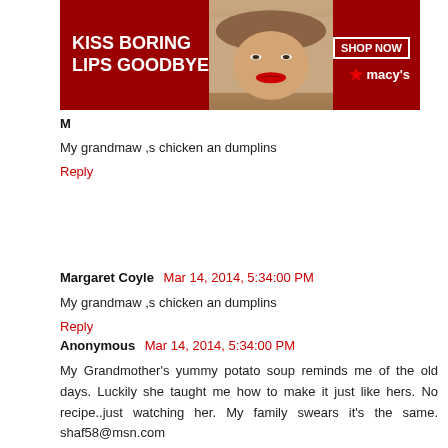[Figure (infographic): Macy's advertisement banner: dark red background, woman's face with red lips, text 'KISS BORING LIPS GOODBYE', 'SHOP NOW' box, Macy's star logo]
My grandmaw ,s chicken an dumplins
Reply
Margaret Coyle  Mar 14, 2014, 5:34:00 PM
My grandmaw ,s chicken an dumplins
Reply
Anonymous  Mar 14, 2014, 5:34:00 PM
My Grandmother's yummy potato soup reminds me of the old days. Luckily she taught me how to make it just like hers. No recipe..just watching her. My family swears it's the same. shaf58@msn.com
Reply